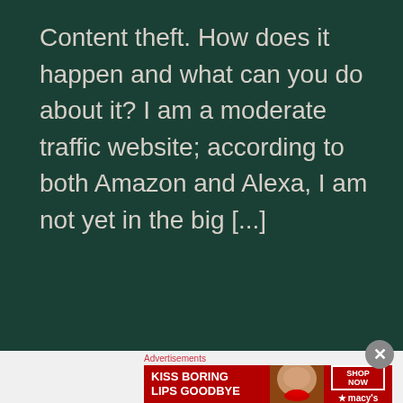Content theft. How does it happen and what can you do about it? I am a moderate traffic website; according to both Amazon and Alexa, I am not yet in the big [...]
[Figure (screenshot): Advertisement banner showing 'KISS BORING LIPS GOODBYE' with a woman's face and red lips, and a 'SHOP NOW' button with Macy's logo]